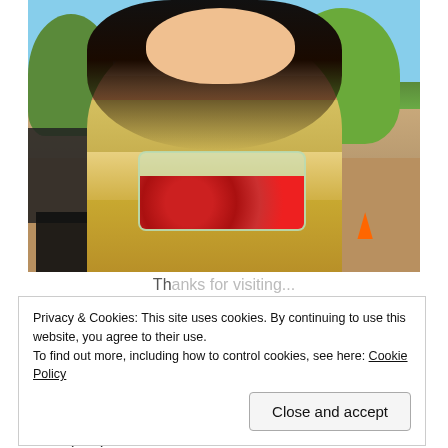[Figure (photo): A smiling woman holding a clear plastic container of strawberries outdoors at what appears to be a plant nursery or farm stand, with trees and potted plants in the background.]
Privacy & Cookies: This site uses cookies. By continuing to use this website, you agree to their use.
To find out more, including how to control cookies, see here: Cookie Policy
Close and accept
Office: (949)653-2100